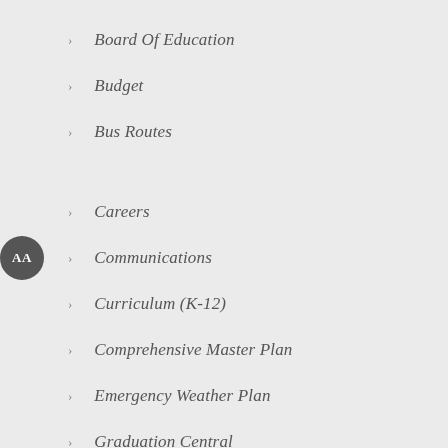Board Of Education
Budget
Bus Routes
Careers
Communications
Curriculum (K-12)
Comprehensive Master Plan
Emergency Weather Plan
Graduation Central